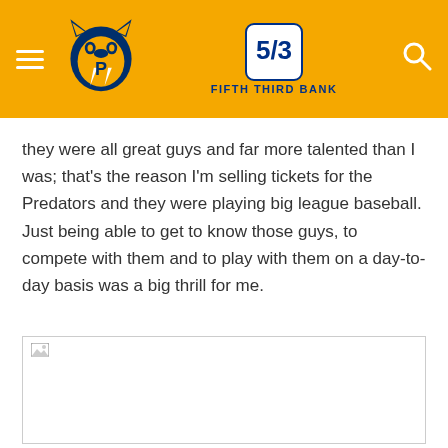Nashville Predators / Fifth Third Bank header navigation
they were all great guys and far more talented than I was; that's the reason I'm selling tickets for the Predators and they were playing big league baseball. Just being able to get to know those guys, to compete with them and to play with them on a day-to-day basis was a big thrill for me.
[Figure (photo): Image placeholder (broken/loading image) for a photo related to the article]